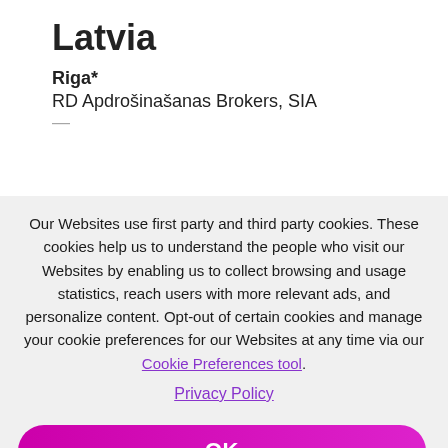Latvia
Riga*
RD Apdrošinašanas Brokers, SIA
Our Websites use first party and third party cookies. These cookies help us to understand the people who visit our Websites by enabling us to collect browsing and usage statistics, reach users with more relevant ads, and personalize content. Opt-out of certain cookies and manage your cookie preferences for our Websites at any time via our Cookie Preferences tool.
Privacy Policy
OK